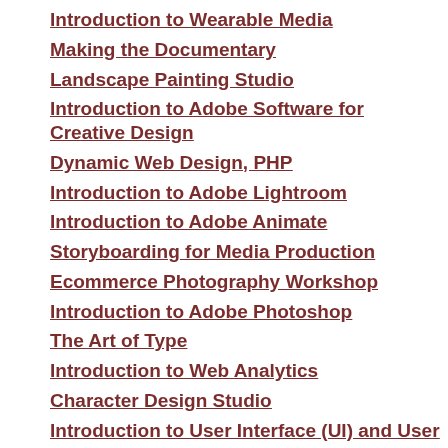Introduction to Wearable Media
Making the Documentary
Landscape Painting Studio
Introduction to Adobe Software for Creative Design
Dynamic Web Design, PHP
Introduction to Adobe Lightroom
Introduction to Adobe Animate
Storyboarding for Media Production
Ecommerce Photography Workshop
Introduction to Adobe Photoshop
The Art of Type
Introduction to Web Analytics
Character Design Studio
Introduction to User Interface (UI) and User